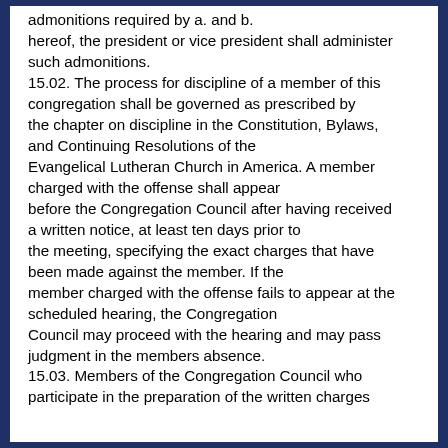admonitions required by a. and b. hereof, the president or vice president shall administer such admonitions. 15.02. The process for discipline of a member of this congregation shall be governed as prescribed by the chapter on discipline in the Constitution, Bylaws, and Continuing Resolutions of the Evangelical Lutheran Church in America. A member charged with the offense shall appear before the Congregation Council after having received a written notice, at least ten days prior to the meeting, specifying the exact charges that have been made against the member. If the member charged with the offense fails to appear at the scheduled hearing, the Congregation Council may proceed with the hearing and may pass judgment in the members absence. 15.03. Members of the Congregation Council who participate in the preparation of the written charges